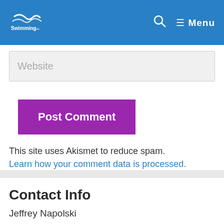Swimming [logo] | Search | Menu
Website
Post Comment
This site uses Akismet to reduce spam. Learn how your comment data is processed.
Contact Info
Jeffrey Napolski